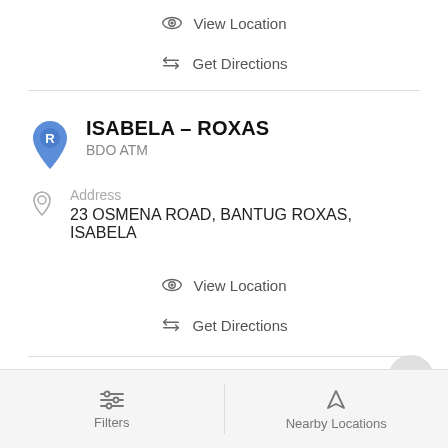View Location
Get Directions
ISABELA - ROXAS
BDO ATM
Address
23 OSMENA ROAD, BANTUG ROXAS, ISABELA
View Location
Get Directions
Filters    Nearby Locations